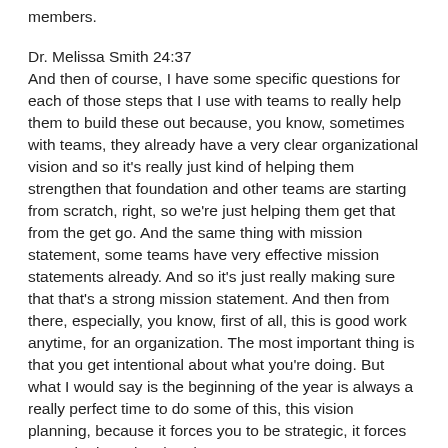members.
Dr. Melissa Smith 24:37
And then of course, I have some specific questions for each of those steps that I use with teams to really help them to build these out because, you know, sometimes with teams, they already have a very clear organizational vision and so it's really just kind of helping them strengthen that foundation and other teams are starting from scratch, right, so we're just helping them get that from the get go. And the same thing with mission statement, some teams have very effective mission statements already. And so it's just really making sure that that's a strong mission statement. And then from there, especially, you know, first of all, this is good work anytime, for an organization. The most important thing is that you get intentional about what you're doing. But what I would say is the beginning of the year is always a really perfect time to do some of this, this vision planning, because it forces you to be strategic, it forces you to be intentional and to